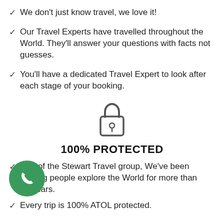We don't just know travel, we love it!
Our Travel Experts have travelled throughout the World. They'll answer your questions with facts not guesses.
You'll have a dedicated Travel Expert to look after each stage of your booking.
[Figure (illustration): Padlock icon indicating 100% protection]
100% PROTECTED
Part of the Stewart Travel group, We've been helping people explore the World for more than 30 years.
Every trip is 100% ATOL protected.
[Figure (illustration): Green circular phone icon, click-to-call button]